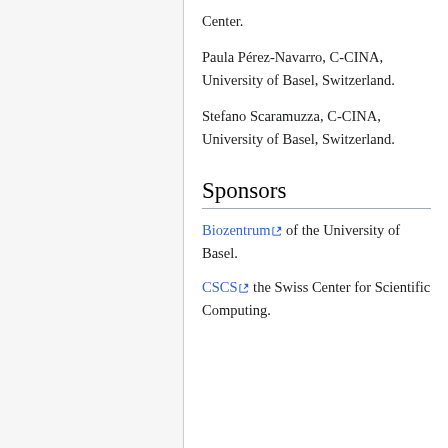Center.
Paula Pérez-Navarro, C-CINA, University of Basel, Switzerland.
Stefano Scaramuzza, C-CINA, University of Basel, Switzerland.
Sponsors
Biozentrum [ext] of the University of Basel.
CSCS [ext] the Swiss Center for Scientific Computing.
Content is available under Creative Commons Attribution-ShareAlike unless otherwise noted.
Privacy policy · About Dynamo · Disclaimers
[Figure (logo): Creative Commons BY-SA badge and MediaWiki powered badge]